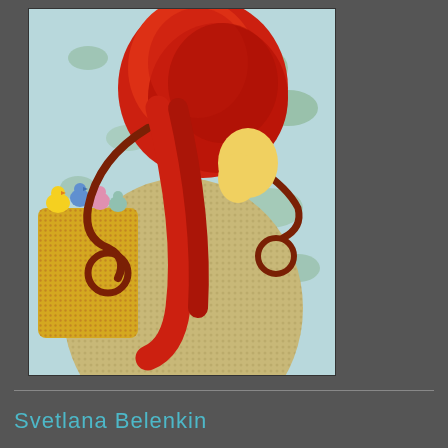[Figure (illustration): A collage-style artwork showing a female figure with long red hair bent forward, wearing a textured beige/gold dress or skirt. The figure holds small colorful birds or chicks in a yellow bag on the left side. The background is a light blue map or patterned paper with green splotches. The hair is voluminous and red, with a braid curling outward.]
Svetlana Belenkin